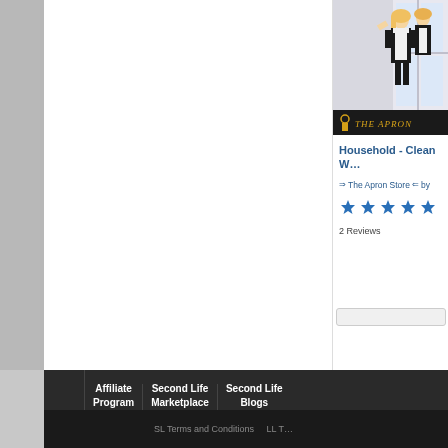[Figure (photo): Product image showing a maid in black and white dress cleaning a window, with THE APRON store logo overlay at bottom]
Household - Clean W…
⇒ The Apron Store ⇐ by
[Figure (other): 5-star rating display in blue stars]
2 Reviews
Affiliate Program
Second Life Marketplace
Second Life Blogs
SL Terms and Conditions   LL T…